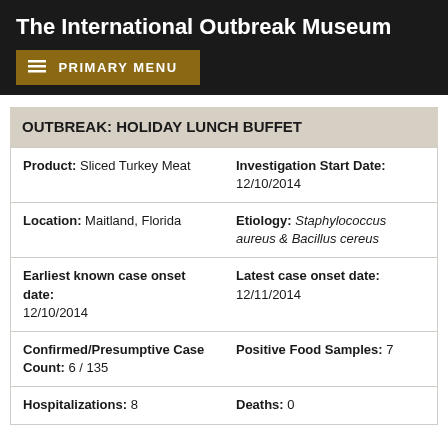The International Outbreak Museum
PRIMARY MENU
OUTBREAK: HOLIDAY LUNCH BUFFET
| Product: Sliced Turkey Meat | Investigation Start Date: 12/10/2014 |
| Location: Maitland, Florida | Etiology: Staphylococcus aureus & Bacillus cereus |
| Earliest known case onset date: 12/10/2014 | Latest case onset date: 12/11/2014 |
| Confirmed/Presumptive Case Count: 6 / 135 | Positive Food Samples: 7 |
| Hospitalizations: 8 | Deaths: 0 |